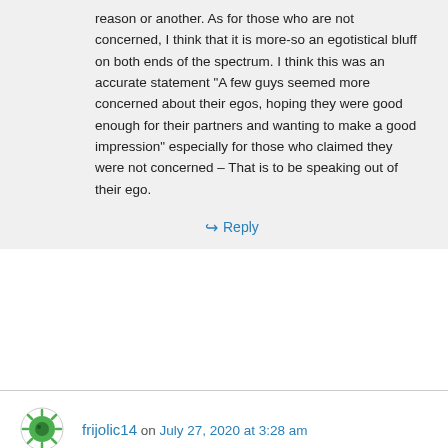reason or another. As for those who are not concerned, I think that it is more-so an egotistical bluff on both ends of the spectrum. I think this was an accurate statement “A few guys seemed more concerned about their egos, hoping they were good enough for their partners and wanting to make a good impression” especially for those who claimed they were not concerned – That is to be speaking out of their ego.
↪ Reply
frijolic14 on July 27, 2020 at 3:28 am
I think il've seen this post around before and my